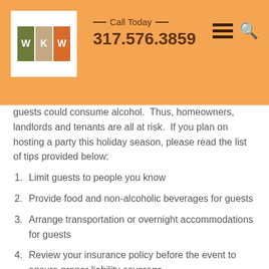WKW Law — Call Today — 317.576.3859
guests could consume alcohol. Thus, homeowners, landlords and tenants are all at risk. If you plan on hosting a party this holiday season, please read the list of tips provided below:
Limit guests to people you know
Provide food and non-alcoholic beverages for guests
Arrange transportation or overnight accommodations for guests
Review your insurance policy before the event to ensure proper liability coverage